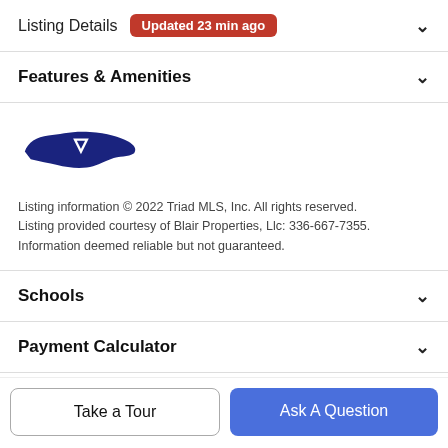Listing Details  Updated 23 min ago
Features & Amenities
[Figure (logo): North Carolina state outline logo with triangle, dark blue, Triad MLS]
Listing information © 2022 Triad MLS, Inc. All rights reserved. Listing provided courtesy of Blair Properties, Llc: 336-667-7355. Information deemed reliable but not guaranteed.
Schools
Payment Calculator
Contact Agent
Take a Tour
Ask A Question